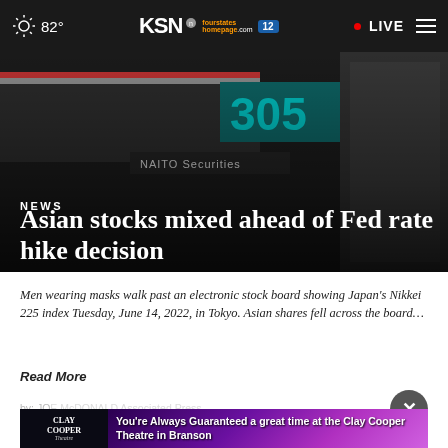82° KSN fourstates homepage.com 12 • LIVE
[Figure (photo): Men walking past an electronic stock board showing Japan's Nikkei 225 index at NAITO Securities in Tokyo, June 14, 2022. Dark background with teal numbers visible.]
NEWS
Asian stocks mixed ahead of Fed rate hike decision
Men wearing masks walk past an electronic stock board showing Japan's Nikkei 225 index Tuesday, June 14, 2022, in Tokyo. Asian shares fell across the board…
Read More
by: JOE McDONALD Associated Press
Posted: ...
Updated: ...
[Figure (screenshot): Advertisement banner: You're Always Guaranteed a great time at the Clay Cooper Theatre in Branson]